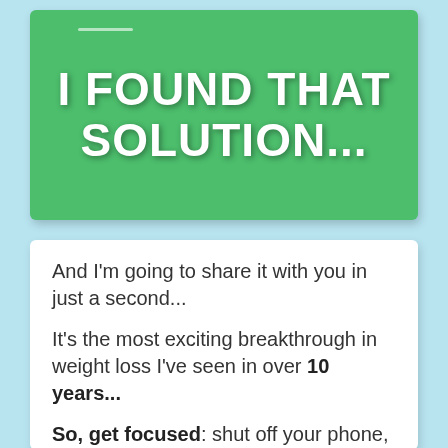I FOUND THAT SOLUTION...
And I'm going to share it with you in just a second...
It's the most exciting breakthrough in weight loss I've seen in over 10 years...
So, get focused: shut off your phone, close the door, get a pen